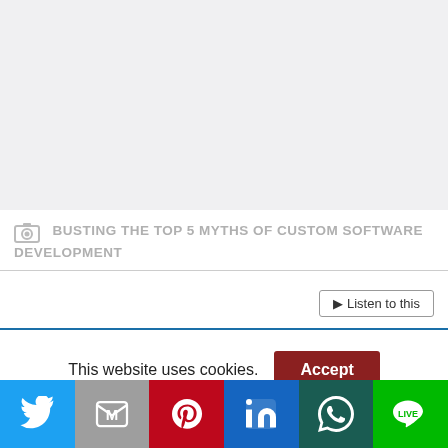[Figure (other): Gray placeholder image area at the top of the page]
BUSTING THE TOP 5 MYTHS OF CUSTOM SOFTWARE DEVELOPMENT
Listen to this
This website uses cookies.
Accept
[Figure (infographic): Social sharing bar with Twitter, Gmail, Pinterest, LinkedIn, WhatsApp, and LINE buttons]